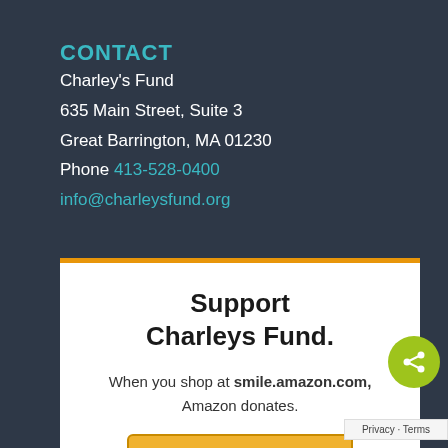CONTACT
Charley's Fund
635 Main Street, Suite 3
Great Barrington, MA 01230
Phone 413-528-0400
info@charleysfund.org
Support Charleys Fund.
When you shop at smile.amazon.com, Amazon donates.
Go to smile.amazon.com